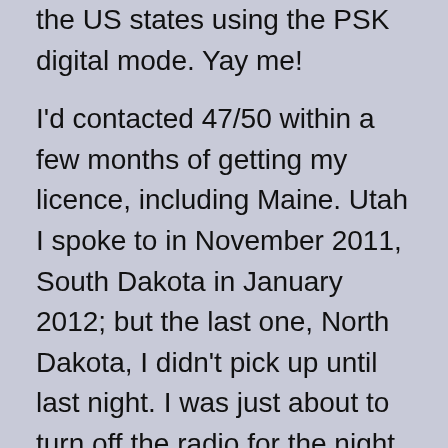the US states using the PSK digital mode. Yay me!
I'd contacted 47/50 within a few months of getting my licence, including Maine. Utah I spoke to in November 2011, South Dakota in January 2012; but the last one, North Dakota, I didn't pick up until last night. I was just about to turn off the radio for the night when I have 40m a try, and there was Bill (ND0B) calling from Cathay, ND. Sometimes you find what you're looking for without even trying. Happy Thanksgiving!